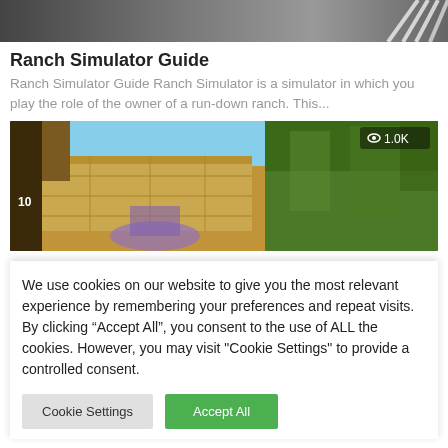[Figure (screenshot): Top portion of a game guide screenshot showing a dark landscape scene]
Ranch Simulator Guide
Ranch Simulator Guide Ranch Simulator is a simulator in which you play the role of the owner of a run-down ranch. This...
[Figure (screenshot): Game screenshot showing a sandy/desert environment with trees, stone walls, and a view count badge showing 1.0K with an eye icon]
We use cookies on our website to give you the most relevant experience by remembering your preferences and repeat visits. By clicking "Accept All", you consent to the use of ALL the cookies. However, you may visit "Cookie Settings" to provide a controlled consent.
Cookie Settings
Accept All